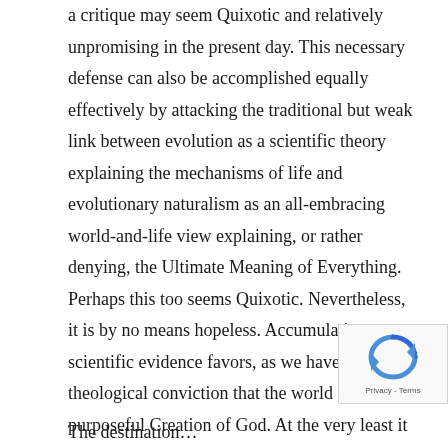a critique may seem Quixotic and relatively unpromising in the present day. This necessary defense can also be accomplished equally effectively by attacking the traditional but weak link between evolution as a scientific theory explaining the mechanisms of life and evolutionary naturalism as an all-embracing world-and-life view explaining, or rather denying, the Ultimate Meaning of Everything. Perhaps this too seems Quixotic. Nevertheless, it is by no means hopeless. Accumulating scientific evidence favors, as we have stated, the theological conviction that the world is the purposeful Creation of God. At the very least it is adequate to disqualify any claim that naturalistic evolution is an assured fact on which to base principles of political, legal, and individual policy.
The destination…